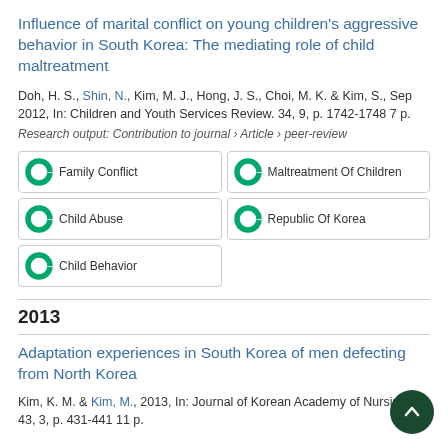Influence of marital conflict on young children's aggressive behavior in South Korea: The mediating role of child maltreatment
Doh, H. S., Shin, N., Kim, M. J., Hong, J. S., Choi, M. K. & Kim, S., Sep 2012, In: Children and Youth Services Review. 34, 9, p. 1742-1748 7 p.
Research output: Contribution to journal › Article › peer-review
[Figure (infographic): Five keyword badges with donut/ring icons showing near-100% fill in green: Family Conflict, Maltreatment Of Children, Child Abuse, Republic Of Korea, Child Behavior. Arranged in a 2-column grid.]
2013
Adaptation experiences in South Korea of men defecting from North Korea
Kim, K. M. & Kim, M., 2013, In: Journal of Korean Academy of Nursing. 43, 3, p. 431-441 11 p.